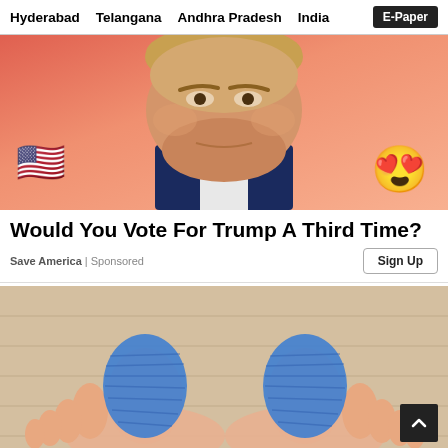Hyderabad  Telangana  Andhra Pradesh  India  E-Paper
[Figure (photo): Close-up photo of a person's face (appears to be Donald Trump) against a coral/salmon gradient background, with a US flag emoji on the lower left and a heart-eyes emoji on the lower right]
Would You Vote For Trump A Third Time?
Save America | Sponsored
[Figure (photo): Photo of human feet from above, with big toes bandaged in blue elastic/gauze wrap, on a wooden surface background. A scroll-to-top button (dark square with upward chevron) is visible at bottom right.]